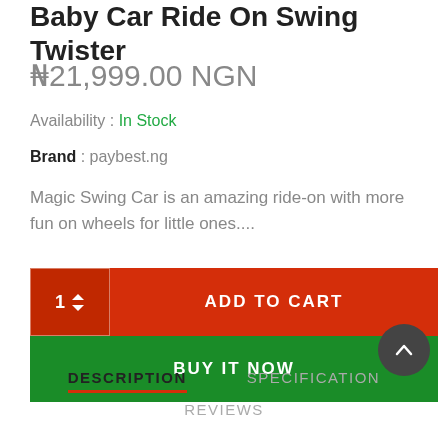Baby Car Ride On Swing Twister
₦21,999.00 NGN
Availability : In Stock
Brand : paybest.ng
Magic Swing Car is an amazing ride-on with more fun on wheels for little ones....
1  ADD TO CART
BUY IT NOW
DESCRIPTION   SPECIFICATION
REVIEWS